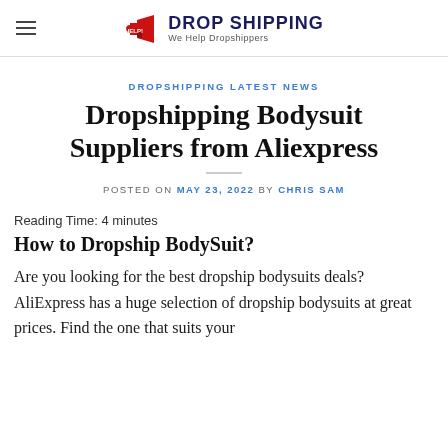Drop Shipping — We Help Dropshippers
DROPSHIPPING LATEST NEWS
Dropshipping Bodysuit Suppliers from Aliexpress
POSTED ON MAY 23, 2022 BY CHRIS SAM
Reading Time: 4 minutes
How to Dropship BodySuit?
Are you looking for the best dropship bodysuits deals? AliExpress has a huge selection of dropship bodysuits at great prices. Find the one that suits your